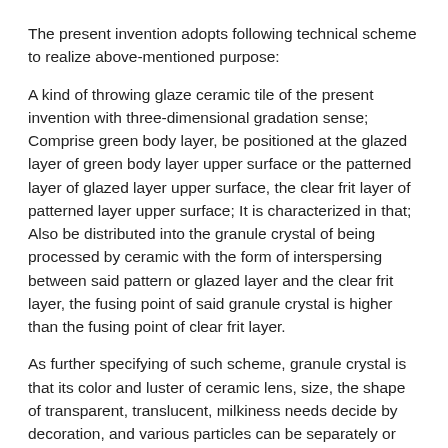The present invention adopts following technical scheme to realize above-mentioned purpose:
A kind of throwing glaze ceramic tile of the present invention with three-dimensional gradation sense; Comprise green body layer, be positioned at the glazed layer of green body layer upper surface or the patterned layer of glazed layer upper surface, the clear frit layer of patterned layer upper surface; It is characterized in that; Also be distributed into the granule crystal of being processed by ceramic with the form of interspersing between said pattern or glazed layer and the clear frit layer, the fusing point of said granule crystal is higher than the fusing point of clear frit layer.
As further specifying of such scheme, granule crystal is that its color and luster of ceramic lens, size, the shape of transparent, translucent, milkiness needs decide by decoration, and various particles can be separately or the mixing use.
As further specifying of such scheme, granule crystal or be clear frit; Or add opacifying agent for clear frit; Or fire